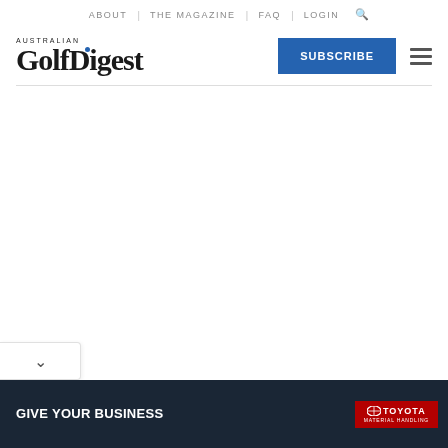ABOUT | THE MAGAZINE | FAQ | LOGIN
[Figure (logo): Australian Golf Digest logo with blue dot on D]
SUBSCRIBE
[Figure (screenshot): Advertisement banner: GIVE YOUR BUSINESS with Toyota Material Handling logo and forklift image]